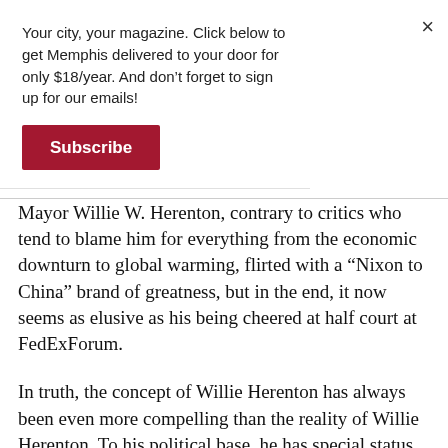Your city, your magazine. Click below to get Memphis delivered to your door for only $18/year. And don’t forget to sign up for our emails!
Subscribe
×
Mayor Willie W. Herenton, contrary to critics who tend to blame him for everything from the economic downturn to global warming, flirted with a “Nixon to China” brand of greatness, but in the end, it now seems as elusive as his being cheered at half court at FedExForum.
In truth, the concept of Willie Herenton has always been even more compelling than the reality of Willie Herenton. To his political base, he has special status as the city’s first African-American mayor, and the voter loyalty attached to that milestone will not be replicated again. To civic leaders, statements of support frequently begin with the